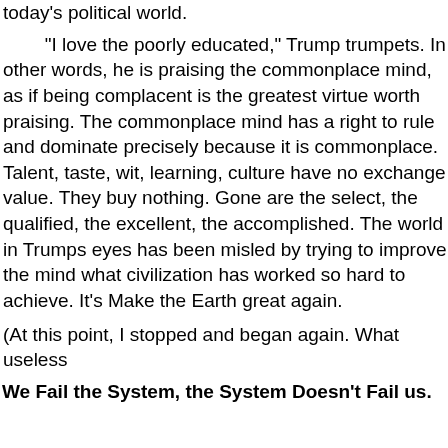today's political world.
“I love the poorly educated,” Trump trumpets. In other words, he is praising the commonplace mind, as if being complacent is the greatest virtue worth praising. The commonplace mind has a right to rule and dominate precisely because it is commonplace. Talent, taste, wit, learning, culture have no exchange value. They buy nothing. Gone are the select, the qualified, the excellent, the accomplished. The world in Trumps eyes has been misled by trying to improve the mind what civilization has worked so hard to achieve. It’s Make the Earth great again.
(At this point, I stopped and began again. What useless
We Fail the System, the System Doesn’t Fail us.
The current political strife in America is merely a symptom of the disease itself.
The hard fact is that all political systems, like all civilizations, are successful only for a limited time. For a time they are